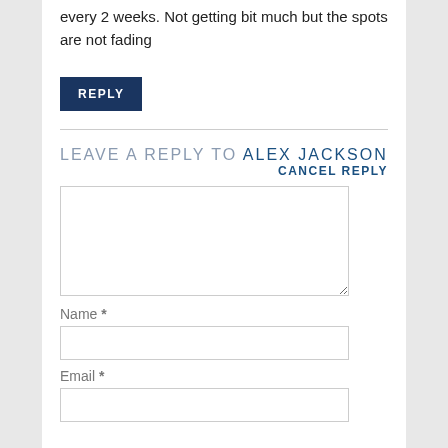every 2 weeks. Not getting bit much but the spots are not fading
REPLY
LEAVE A REPLY TO ALEX JACKSON
CANCEL REPLY
[comment textarea]
Name *
[name input]
Email *
[email input]